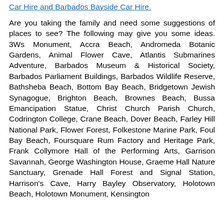Car Hire and Barbados Bayside Car Hire.
Are you taking the family and need some suggestions of places to see? The following may give you some ideas. 3Ws Monument, Accra Beach, Andromeda Botanic Gardens, Animal Flower Cave, Atlantis Submarines Adventure, Barbados Museum & Historical Society, Barbados Parliament Buildings, Barbados Wildlife Reserve, Bathsheba Beach, Bottom Bay Beach, Bridgetown Jewish Synagogue, Brighton Beach, Brownes Beach, Bussa Emancipation Statue, Christ Church Parish Church, Codrington College, Crane Beach, Dover Beach, Farley Hill National Park, Flower Forest, Folkestone Marine Park, Foul Bay Beach, Foursquare Rum Factory and Heritage Park, Frank Collymore Hall of the Performing Arts, Garrison Savannah, George Washington House, Graeme Hall Nature Sanctuary, Grenade Hall Forest and Signal Station, Harrison's Cave, Harry Bayley Observatory, Holotown Beach, Holotown Monument, Kensington